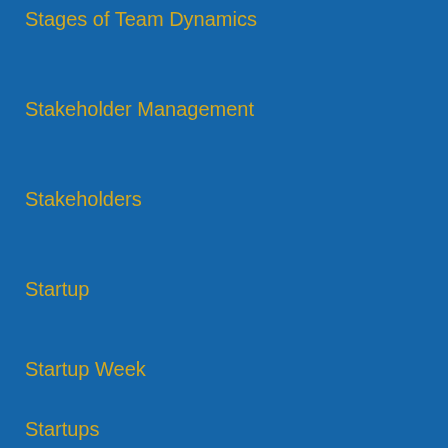Stages of Team Dynamics
Stakeholder Management
Stakeholders
Startup
Startup Week
Startups
Steve Massa
Storming
Storming
Story of a Scrum implementation at a media company told by an